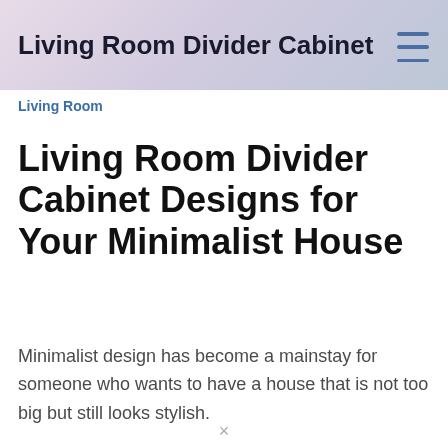Living Room Divider Cabinet
Living Room
Living Room Divider Cabinet Designs for Your Minimalist House
Minimalist design has become a mainstay for someone who wants to have a house that is not too big but still looks stylish.